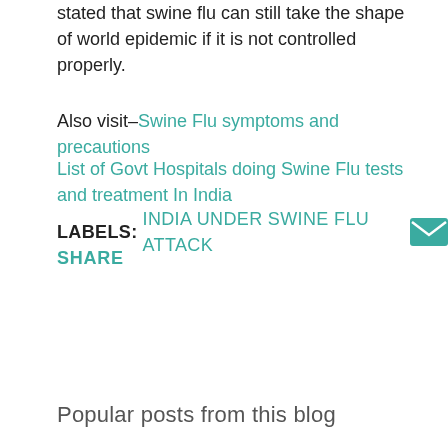stated that swine flu can still take the shape of world epidemic if it is not controlled properly.
Also visit-Swine Flu symptoms and precautions
List of Govt Hospitals doing Swine Flu tests and treatment In India
LABELS: INDIA UNDER SWINE FLU ATTACK
SHARE
Popular posts from this blog